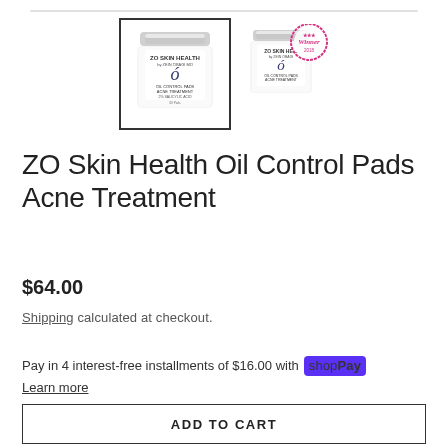[Figure (photo): ZO Skin Health product jar - Oil Control Pads Acne Treatment, with chrome lid, shown as main selected thumbnail with dark border]
[Figure (photo): ZO Skin Health product jar - smaller secondary thumbnail with a pink/red 'Winner 2018' award badge overlaid in top right corner]
ZO Skin Health Oil Control Pads Acne Treatment
$64.00
Shipping calculated at checkout.
Pay in 4 interest-free installments of $16.00 with shop Pay
Learn more
ADD TO CART